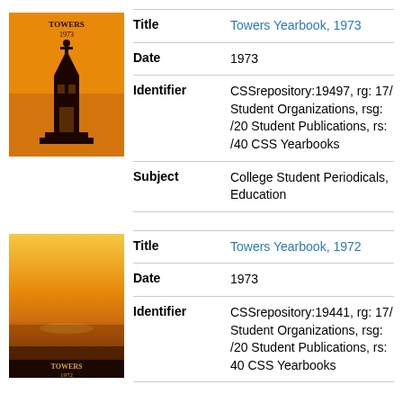[Figure (photo): Thumbnail cover of Towers Yearbook 1973, orange background with tower/church silhouette]
| Title | Towers Yearbook, 1973 |
| Date | 1973 |
| Identifier | CSSrepository:19497, rg: 17/ Student Organizations, rsg: /20 Student Publications, rs: /40 CSS Yearbooks |
| Subject | College Student Periodicals, Education |
[Figure (photo): Thumbnail cover of Towers Yearbook 1972, sunset landscape with water/horizon]
| Title | Towers Yearbook, 1972 |
| Date | 1973 |
| Identifier | CSSrepository:19441, rg: 17/ Student Organizations, rsg: /20 Student Publications, rs: 40 CSS Yearbooks |